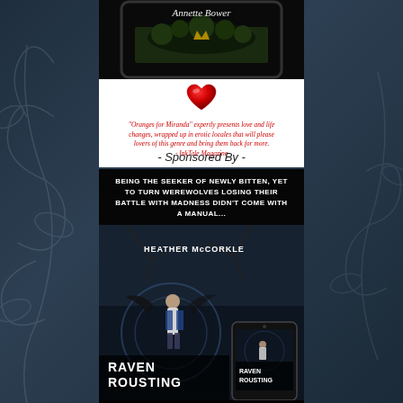[Figure (illustration): Dark blue decorative background with floral/vine scroll patterns in grey overlay]
[Figure (photo): Top advertisement box for 'Oranges for Miranda' by Annette Bower showing book cover on tablet, red heart graphic, quote in red text from InkTale Magazine praising the book]
- Sponsored By -
[Figure (photo): Bottom advertisement for 'Raven Rousting' by Heather McCorkle showing book cover and phone mockup. Tagline reads: BEING THE SEEKER OF NEWLY BITTEN, YET TO TURN WEREWOLVES LOSING THEIR BATTLE WITH MADNESS DIDN'T COME WITH A MANUAL. Bottom text: THE CHILDREN OF FENRIR SERIES WAS ONLY THE]